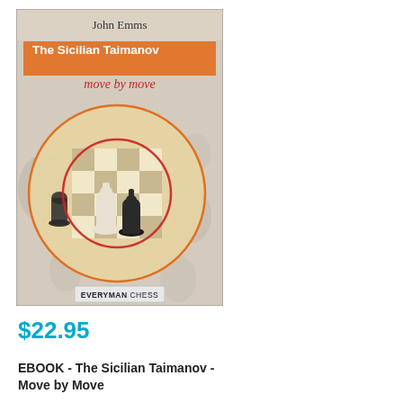[Figure (illustration): Book cover for 'The Sicilian Taimanov – move by move' by John Emms, published by Everyman Chess. The cover shows chess pieces on a board with an orange circular highlight around the central pieces. The title appears in an orange banner and the subtitle in red italic text.]
$22.95
EBOOK - The Sicilian Taimanov - Move by Move